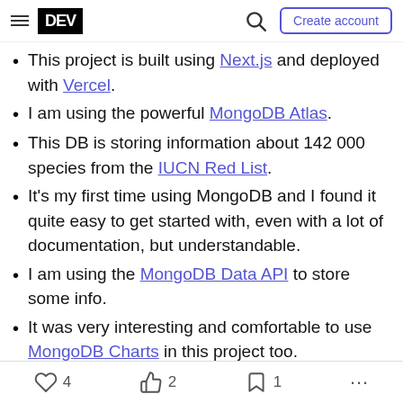DEV — Create account
This project is built using Next.js and deployed with Vercel.
I am using the powerful MongoDB Atlas.
This DB is storing information about 142 000 species from the IUCN Red List.
It's my first time using MongoDB and I found it quite easy to get started with, even with a lot of documentation, but understandable.
I am using the MongoDB Data API to store some info.
It was very interesting and comfortable to use MongoDB Charts in this project too.
4  2  1  ...